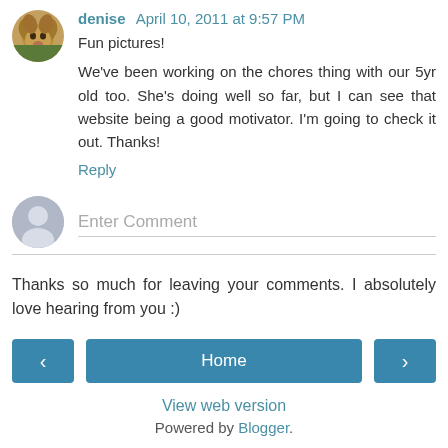[Figure (photo): Avatar photo of commenter denise — small dog photo in rounded square]
denise April 10, 2011 at 9:57 PM
Fun pictures!
We've been working on the chores thing with our 5yr old too. She's doing well so far, but I can see that website being a good motivator. I'm going to check it out. Thanks!
Reply
[Figure (illustration): Generic grey user avatar silhouette]
Enter Comment
Thanks so much for leaving your comments. I absolutely love hearing from you :)
‹
Home
›
View web version
Powered by Blogger.